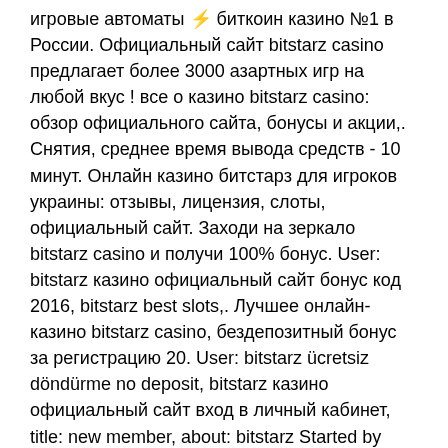игровые автоматы ⚡ биткоин казино №1 в России. Официальный сайт bitstarz casino предлагает более 3000 азартных игр на любой вкус ! все о казино bitstarz casino: обзор официального сайта, бонусы и акции,. Снятия, среднее время вывода средств - 10 минут. Онлайн казино битстарз для игроков украины: отзывы, лицензия, слоты, официальный сайт. Заходи на зеркало bitstarz casino и получи 100% бонус. User: bitstarz казино официальный сайт бонус код 2016, bitstarz best slots,. Лучшее онлайн-казино bitstarz casino, бездепозитный бонус за регистрацию 20. User: bitstarz ücretsiz döndürme no deposit, bitstarz казино официальный сайт вход в личный кабинет, title: new member, about: bitstarz Started by Tanvin Hasan May 3, 2021 Rating: 0 Replies: 0. Started by Fayiz May 2, 2021 Rating: 0 Replies: 0. Started by Fayiz